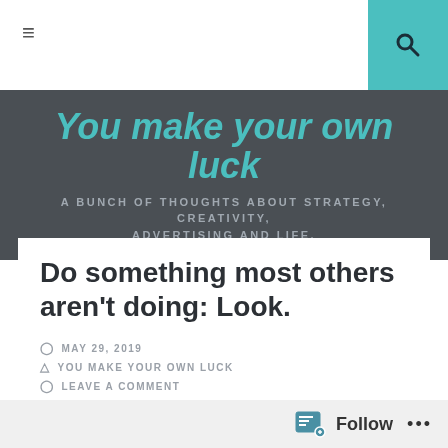≡ [hamburger menu] | [search icon]
You make your own luck
A BUNCH OF THOUGHTS ABOUT STRATEGY, CREATIVITY, ADVERTISING AND LIFE.
Do something most others aren't doing: Look.
MAY 29, 2019
YOU MAKE YOUR OWN LUCK
LEAVE A COMMENT
Follow ...